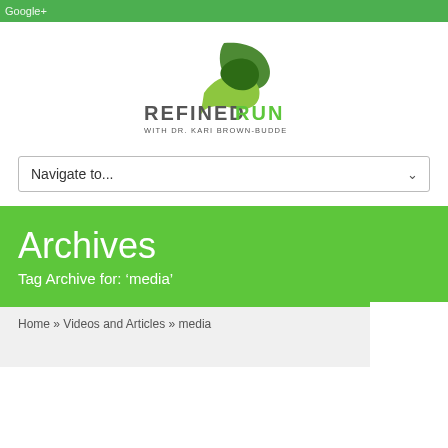Google+
[Figure (logo): Refined Run with Dr. Kari Brown-Budde logo — stylized green R with road/path shape above text]
Navigate to...
Archives
Tag Archive for: ‘media’
Home » Videos and Articles » media